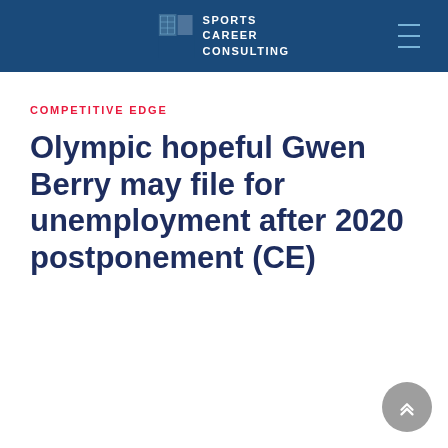SPORTS CAREER CONSULTING
COMPETITIVE EDGE
Olympic hopeful Gwen Berry may file for unemployment after 2020 postponement (CE)